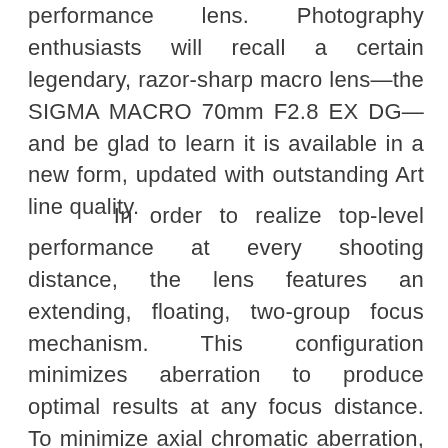performance lens. Photography enthusiasts will recall a certain legendary, razor-sharp macro lens—the SIGMA MACRO 70mm F2.8 EX DG—and be glad to learn it is available in a new form, updated with outstanding Art line quality.
In order to realize top-level performance at every shooting distance, the lens features an extending, floating, two-group focus mechanism. This configuration minimizes aberration to produce optimal results at any focus distance. To minimize axial chromatic aberration, the optical system incorporates two FLD glass elements, two SLD glass elements, and one element with a high rate of anomalous partial dispersion and a high index of refraction. In addition, two aspherical lens elements help increase resolution at close